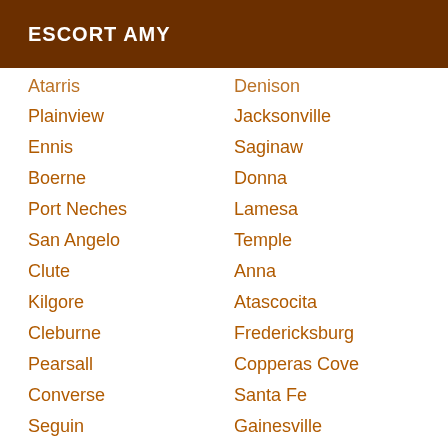ESCORT AMY
Atarris
Denison
Plainview
Jacksonville
Ennis
Saginaw
Boerne
Donna
Port Neches
Lamesa
San Angelo
Temple
Clute
Anna
Kilgore
Atascocita
Cleburne
Fredericksburg
Pearsall
Copperas Cove
Converse
Santa Fe
Seguin
Gainesville
San Marcos
Nacogdoches